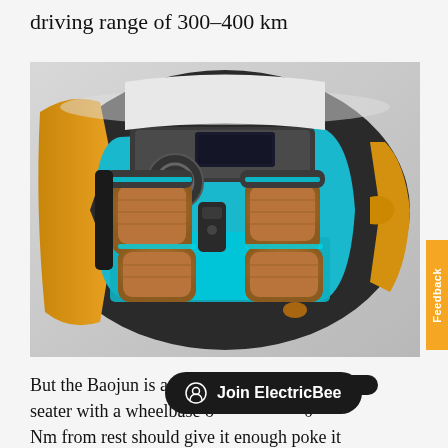driving range of 300–400 km
[Figure (photo): Overhead/bird's-eye view of the interior of a small electric vehicle (Baojun), showing two front seats and two rear seats with brown upholstery, cyan/turquoise ambient lighting on the floor and trim, a steering wheel with orange accents, and the yellow exterior bodywork visible at the edges.]
But the Baojun is a tiny S seater with a wheelbase of [partially obscured], and 170 Nm from rest should give it enough poke it